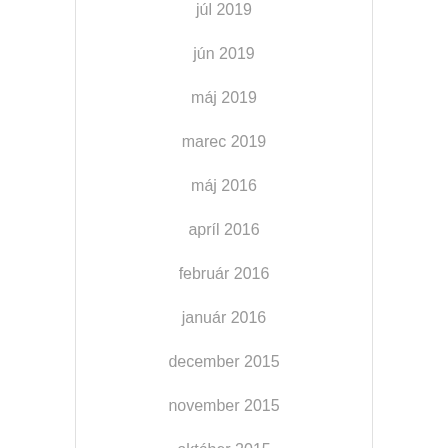júl 2019
jún 2019
máj 2019
marec 2019
máj 2016
apríl 2016
február 2016
január 2016
december 2015
november 2015
október 2015
september 2015
august 2015